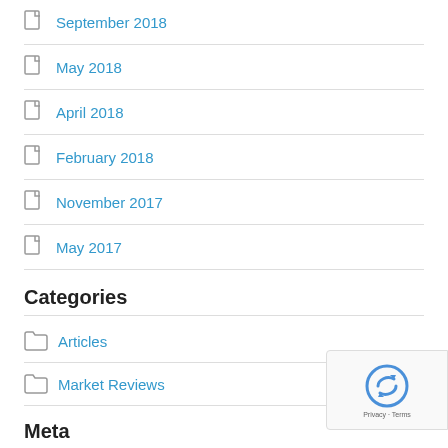September 2018
May 2018
April 2018
February 2018
November 2017
May 2017
Categories
Articles
Market Reviews
Meta